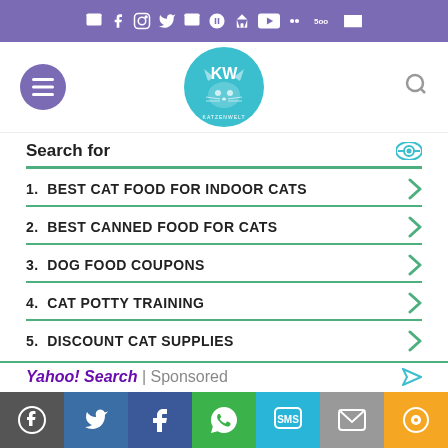Social media icons top bar
[Figure (logo): Katzenwelt cat website logo - circular teal logo with cat face illustration]
Search for
1. BEST CAT FOOD FOR INDOOR CATS
2. BEST CANNED FOOD FOR CATS
3. DOG FOOD COUPONS
4. CAT POTTY TRAINING
5. DISCOUNT CAT SUPPLIES
Yahoo! Search | Sponsored
Share buttons: WordPress, Twitter, Facebook, WhatsApp, SMS, Email, Share